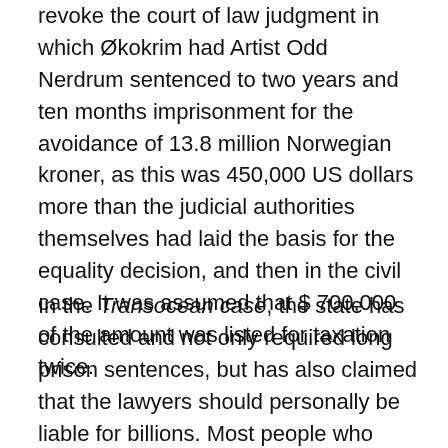revoke the court of law judgment in which Økokrim had Artist Odd Nerdrum sentenced to two years and ten months imprisonment for the avoidance of 13.8 million Norwegian kroner, as this was 450,000 US dollars more than the judicial authorities themselves had laid the basis for the equality decision, and then in the civil case. It was assumed that $ 700,000 of the amount was listed for taxation twice.
In the Transocean case, the state has consulted and not only required long prison sentences, but has also claimed that the lawyers should personally be liable for billions. Most people who have been in to attend the trial have shaken their head of what they have experienced in court. When over time it is given access to case documents that show that the